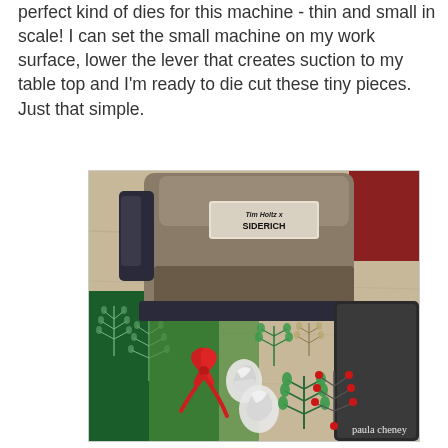perfect kind of dies for this machine - thin and small in scale! I can set the small machine on my work surface, lower the lever that creates suction to my table top and I'm ready to die cut these tiny pieces.  Just that simple.
[Figure (photo): A Sizzix Sidekick die cutting machine on a wooden surface with green patterned paper/cardstock, surrounded by small die-cut holiday decorations including sprigs of greenery, berries, a red bow, and white/silver snowflake shapes. A dark metal cutting plate is visible on the right side.]